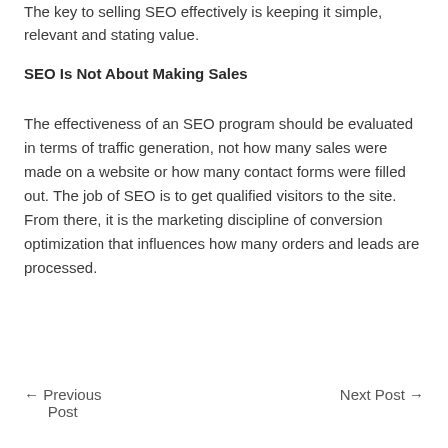The key to selling SEO effectively is keeping it simple, relevant and stating value.
SEO Is Not About Making Sales
The effectiveness of an SEO program should be evaluated in terms of traffic generation, not how many sales were made on a website or how many contact forms were filled out. The job of SEO is to get qualified visitors to the site. From there, it is the marketing discipline of conversion optimization that influences how many orders and leads are processed.
← Previous Post    Next Post →